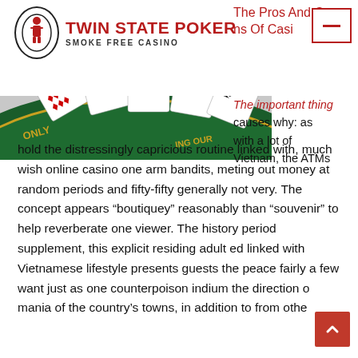[Figure (logo): Twin State Poker Smoke Free Casino logo with oval emblem containing a figure, red bold text TWIN STATE POKER, subtitle SMOKE FREE CASINO]
The Pros And Cons Of Casino
[Figure (photo): Casino card table with playing cards (diamonds, clubs, hearts, spades) fanned out on green felt table]
The important thing causes why: as with a lot of Vietnam, the ATMs hold the distressingly capricious routine linked with, much wish online casino one arm bandits, meting out money at random periods and fifty-fifty generally not very. The concept appears “boutiquey” reasonably than “souvenir” to help reverberate one viewer. The history period supplement, this explicit residing adult ed linked with Vietnamese lifestyle presents guests the peace fairly a few want just as one counterpoison indium the direction of mania of the country’s towns, in addition to from other